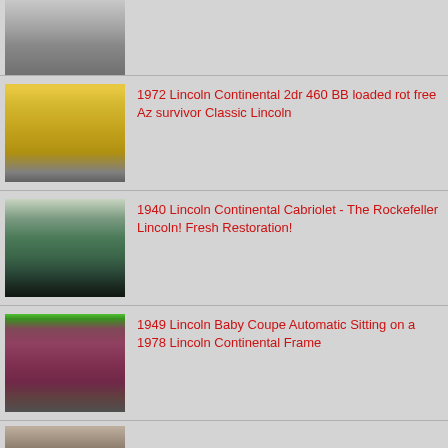[Figure (photo): Partial view of a classic car, cropped at top]
[Figure (photo): 1972 Lincoln Continental 2dr, cream/yellow color, front 3/4 view]
1972 Lincoln Continental 2dr 460 BB loaded rot free Az survivor Classic Lincoln
[Figure (photo): 1940 Lincoln Continental Cabriolet in dark green, front 3/4 view]
1940 Lincoln Continental Cabriolet - The Rockefeller Lincoln! Fresh Restoration!
[Figure (photo): 1949 Lincoln Baby Coupe in burgundy/red, lowered, on a 1978 Lincoln Continental Frame]
1949 Lincoln Baby Coupe Automatic Sitting on a 1978 Lincoln Continental Frame
[Figure (photo): Partial view of another classic Lincoln, cropped at bottom of page]